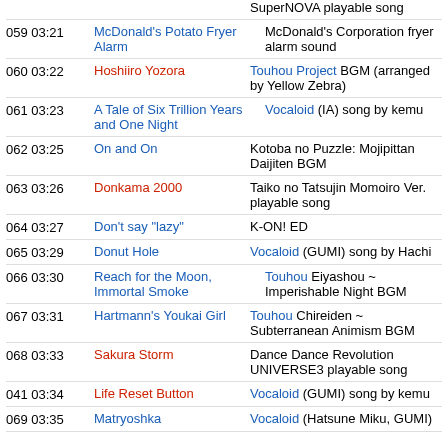SuperNOVA playable song
059 03:21 McDonald's Potato Fryer Alarm — McDonald's Corporation fryer alarm sound
060 03:22 Hoshiiro Yozora — Touhou Project BGM (arranged by Yellow Zebra)
061 03:23 A Tale of Six Trillion Years and One Night — Vocaloid (IA) song by kemu
062 03:25 On and On — Kotoba no Puzzle: Mojipittan Daijiten BGM
063 03:26 Donkama 2000 — Taiko no Tatsujin Momoiro Ver. playable song
064 03:27 Don't say "lazy" — K-ON! ED
065 03:29 Donut Hole — Vocaloid (GUMI) song by Hachi
066 03:30 Reach for the Moon, Immortal Smoke — Touhou Eiyashou ~ Imperishable Night BGM
067 03:31 Hartmann's Youkai Girl — Touhou Chireiden ~ Subterranean Animism BGM
068 03:33 Sakura Storm — Dance Dance Revolution UNIVERSE3 playable song
041 03:34 Life Reset Button — Vocaloid (GUMI) song by kemu
069 03:35 Matryoshka — Vocaloid (Hatsune Miku, GUMI)